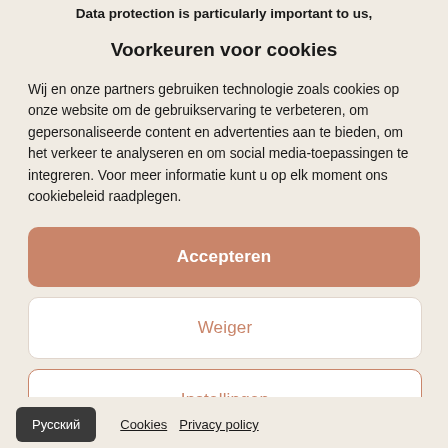Data protection is particularly important to us,
Voorkeuren voor cookies
Wij en onze partners gebruiken technologie zoals cookies op onze website om de gebruikservaring te verbeteren, om gepersonaliseerde content en advertenties aan te bieden, om het verkeer te analyseren en om social media-toepassingen te integreren. Voor meer informatie kunt u op elk moment ons cookiebeleid raadplegen.
Accepteren
Weiger
Instellingen
Русский   Cookies   Privacy policy